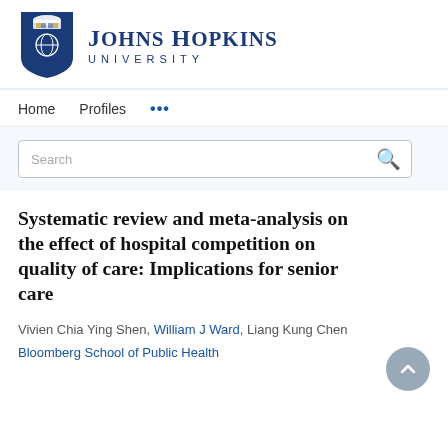[Figure (logo): Johns Hopkins University logo with shield and university name]
Home   Profiles   ...
Search
Systematic review and meta-analysis on the effect of hospital competition on quality of care: Implications for senior care
Vivien Chia Ying Shen, William J Ward, Liang Kung Chen
Bloomberg School of Public Health